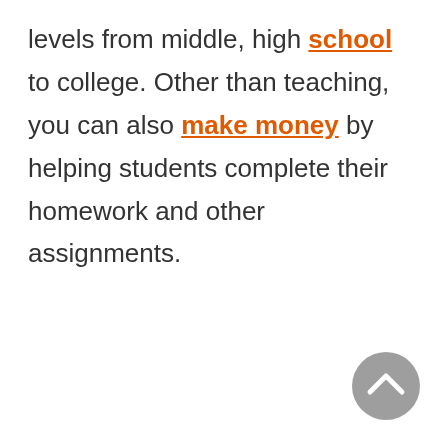levels from middle, high school to college. Other than teaching, you can also make money by helping students complete their homework and other assignments.
[Figure (other): Scroll-to-top button: circular gray button with a white upward chevron arrow]